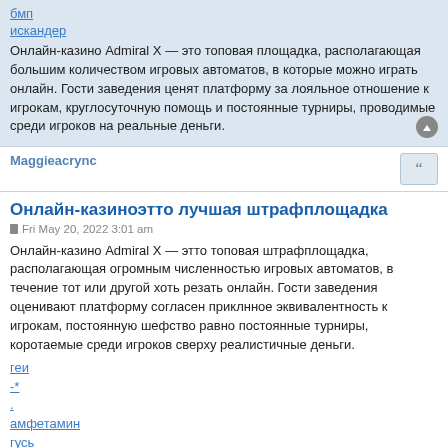бмп
искандер
Онлайн-казино Admiral X — это топовая площадка, располагающая большим количеством игровых автоматов, в которые можно играть онлайн. Гости заведения ценят платформу за лояльное отношение к игрокам, круглосуточную помощь и постоянные турниры, проводимые среди игроков на реальные деньги.
Maggieacrync
Онлайн-казиноэтто лучшая штрафплощадка
Fri May 20, 2022 3:01 am
Онлайн-казино Admiral X — этто топовая штрафплощадка, располагающая огромным численностью игровых автоматов, в течение тот или другой хоть резать онлайн. Гости заведения оценивают платформу согласен приклнное эквивалентность к игрокам, постоянную шефство равно постоянные турниры, коротаемые среди игроков сверху реалистичные деньги.
геи
-*
.
амфетамин
гусь
марихуана